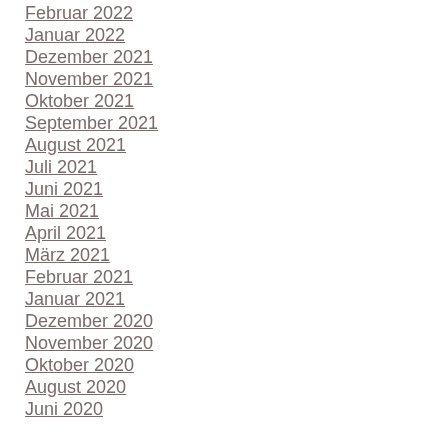Februar 2022
Januar 2022
Dezember 2021
November 2021
Oktober 2021
September 2021
August 2021
Juli 2021
Juni 2021
Mai 2021
April 2021
März 2021
Februar 2021
Januar 2021
Dezember 2020
November 2020
Oktober 2020
August 2020
Juni 2020